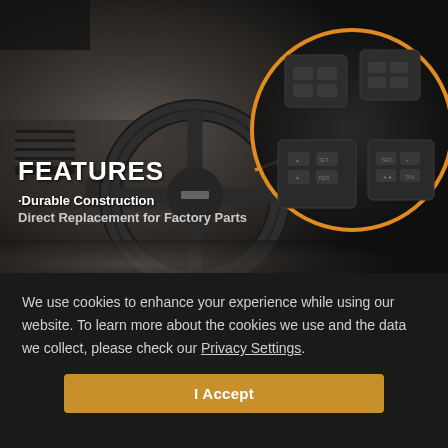[Figure (photo): Car interior photo showing a Chevrolet steering wheel and dashboard. An orange-bordered circular callout highlights four small black steering wheel control button modules on the right side. An orange arrow/line connects the steering wheel area to the circular product callout.]
FEATURES
·Durable Construction
Direct Replacement for Factory Parts
We use cookies to enhance your experience while using our website. To learn more about the cookies we use and the data we collect, please check our Privacy Settings.
I Accept